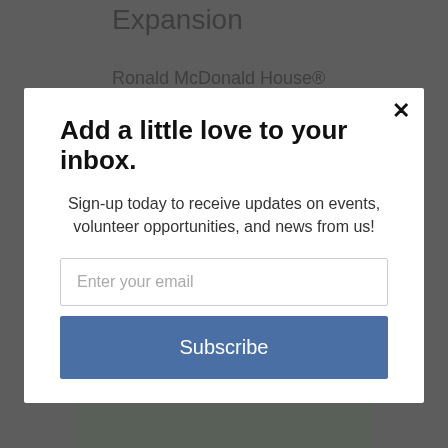Expansion
Ronald McDonald House®
[Figure (screenshot): Modal popup overlay on a webpage with a subscription form]
Add a little love to your inbox.
Sign-up today to receive updates on events, volunteer opportunities, and news from us!
Enter your email
Subscribe
powered by MailMunch